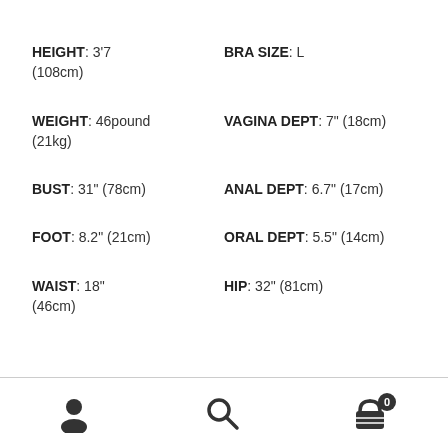HEIGHT: 3'7 (108cm)
BRA SIZE: L
WEIGHT: 46pound (21kg)
VAGINA DEPT: 7" (18cm)
BUST: 31" (78cm)
ANAL DEPT: 6.7" (17cm)
FOOT: 8.2" (21cm)
ORAL DEPT: 5.5" (14cm)
WAIST: 18" (46cm)
HIP: 32" (81cm)
[Figure (infographic): Bottom navigation bar with user account icon, search icon, and shopping cart icon with badge showing 0]